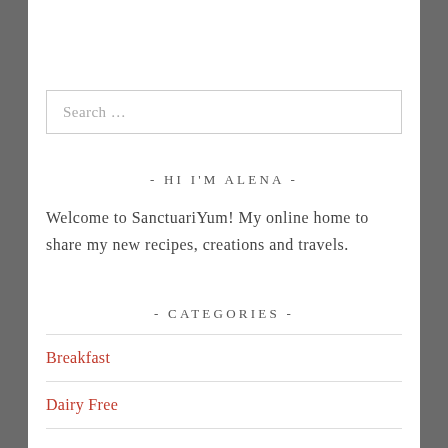Search …
- HI I'M ALENA -
Welcome to SanctuariYum! My online home to share my new recipes, creations and travels.
- CATEGORIES -
Breakfast
Dairy Free